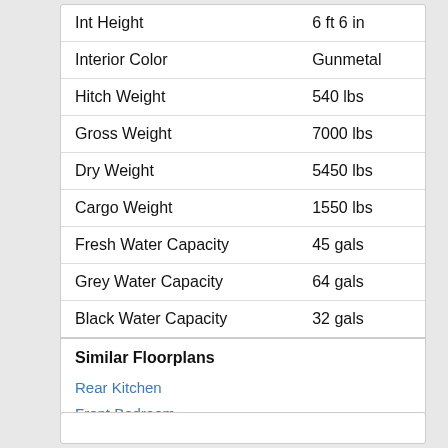| Specification | Value |
| --- | --- |
| Int Height | 6 ft 6 in |
| Interior Color | Gunmetal |
| Hitch Weight | 540 lbs |
| Gross Weight | 7000 lbs |
| Dry Weight | 5450 lbs |
| Cargo Weight | 1550 lbs |
| Fresh Water Capacity | 45 gals |
| Grey Water Capacity | 64 gals |
| Black Water Capacity | 32 gals |
Similar Floorplans
Rear Kitchen
Front Bedroom